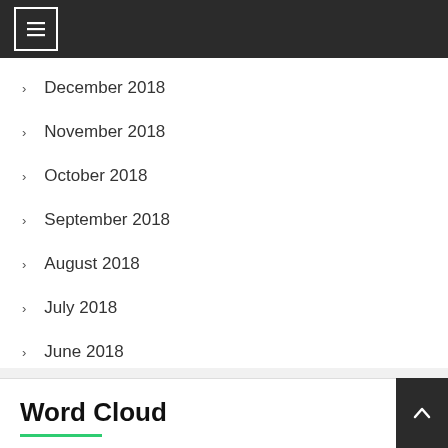December 2018
November 2018
October 2018
September 2018
August 2018
July 2018
June 2018
Word Cloud
apply for debit card beauty products bedroom décor ideas bed sheets BNBL...